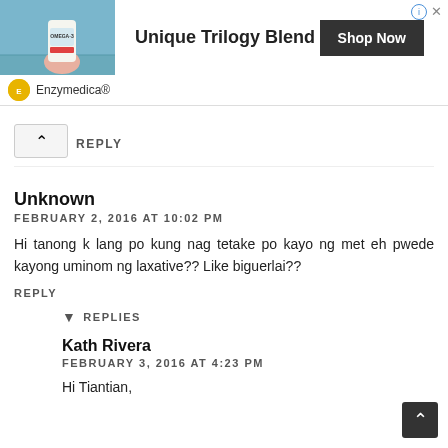[Figure (photo): Advertisement banner: photo of hand holding Enzymedica Omega-3 supplement near a pool. Text: 'Unique Trilogy Blend' with 'Shop Now' button. Enzymedica® brand logo below.]
REPLY
Unknown
FEBRUARY 2, 2016 AT 10:02 PM
Hi tanong k lang po kung nag tetake po kayo ng met eh pwede kayong uminom ng laxative?? Like biguerlai??
REPLY
REPLIES
Kath Rivera
FEBRUARY 3, 2016 AT 4:23 PM
Hi Tiantian,